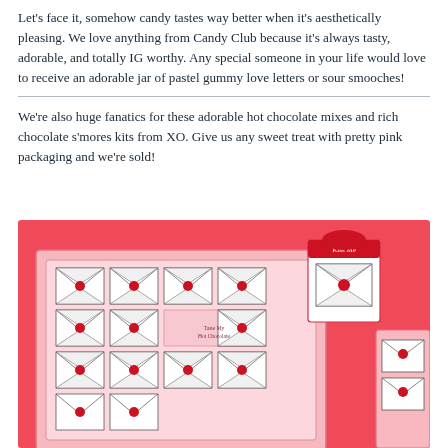Let's face it, somehow candy tastes way better when it's aesthetically pleasing. We love anything from Candy Club because it's always tasty, adorable, and totally IG worthy. Any special someone in your life would love to receive an adorable jar of pastel gummy love letters or sour smooches!
We're also huge fanatics for these adorable hot chocolate mixes and rich chocolate s'mores kits from XO. Give us any sweet treat with pretty pink packaging and we're sold!
[Figure (photo): Valentine's Day chocolate s'mores kit with envelope-shaped chocolates arranged in a pink box, plus a small red and white box labeled 'Kiss Me' with lip-shaped chocolates, all on a coral/pink background.]